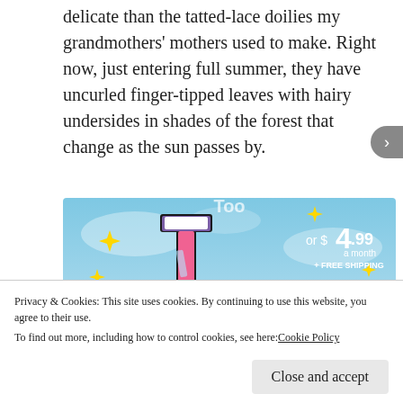delicate than the tatted-lace doilies my grandmothers' mothers used to make. Right now, just entering full summer, they have uncurled finger-tipped leaves with hairy undersides in shades of the forest that change as the sun passes by.
[Figure (screenshot): Tumblr Ad-Free advertisement banner showing Tumblr logo (colorful 't'), sparkle stars, text 'or $4.99 a month + FREE SHIPPING' and 'TUMBLR AD-FREE' on a blue sky background]
Privacy & Cookies: This site uses cookies. By continuing to use this website, you agree to their use.
To find out more, including how to control cookies, see here: Cookie Policy